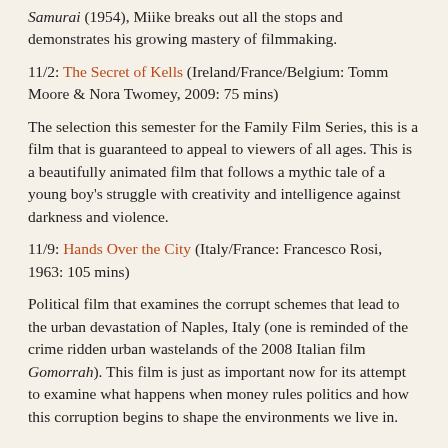Samurai (1954), Miike breaks out all the stops and demonstrates his growing mastery of filmmaking.
11/2: The Secret of Kells (Ireland/France/Belgium: Tomm Moore & Nora Twomey, 2009: 75 mins)
The selection this semester for the Family Film Series, this is a film that is guaranteed to appeal to viewers of all ages. This is a beautifully animated film that follows a mythic tale of a young boy's struggle with creativity and intelligence against darkness and violence.
11/9: Hands Over the City (Italy/France: Francesco Rosi, 1963: 105 mins)
Political film that examines the corrupt schemes that lead to the urban devastation of Naples, Italy (one is reminded of the crime ridden urban wastelands of the 2008 Italian film Gomorrah). This film is just as important now for its attempt to examine what happens when money rules politics and how this corruption begins to shape the environments we live in.